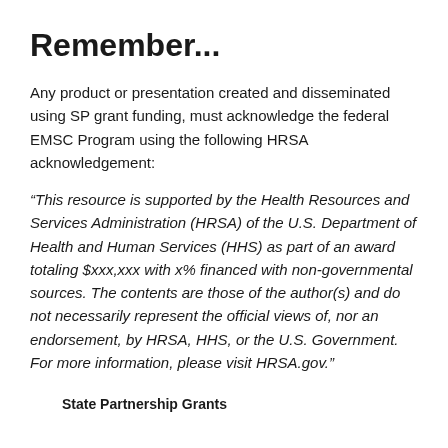Remember...
Any product or presentation created and disseminated using SP grant funding, must acknowledge the federal EMSC Program using the following HRSA acknowledgement:
“This resource is supported by the Health Resources and Services Administration (HRSA) of the U.S. Department of Health and Human Services (HHS) as part of an award totaling $xxx,xxx with x% financed with non-governmental sources. The contents are those of the author(s) and do not necessarily represent the official views of, nor an endorsement, by HRSA, HHS, or the U.S. Government. For more information, please visit HRSA.gov.”
State Partnership Grants